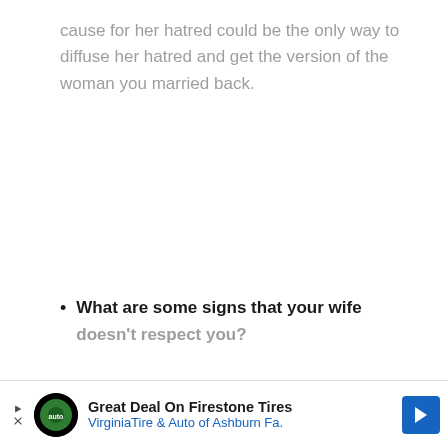cause for her hatred could be the only way to diffuse her hatred and get the version of the woman you married back.
What are some signs that your wife doesn't respect you?
[Figure (other): Advertisement banner for Great Deal On Firestone Tires - VirginiaTire & Auto of Ashburn Fa. with a logo and blue arrow icon.]